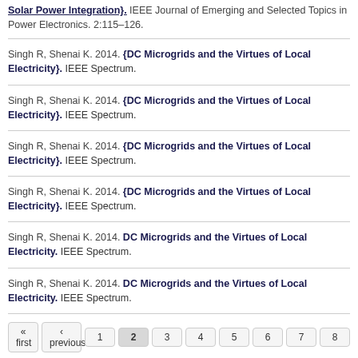Solar Power Integration}. IEEE Journal of Emerging and Selected Topics in Power Electronics. 2:115–126.
Singh R, Shenai K. 2014. {DC Microgrids and the Virtues of Local Electricity}. IEEE Spectrum.
Singh R, Shenai K. 2014. {DC Microgrids and the Virtues of Local Electricity}. IEEE Spectrum.
Singh R, Shenai K. 2014. {DC Microgrids and the Virtues of Local Electricity}. IEEE Spectrum.
Singh R, Shenai K. 2014. {DC Microgrids and the Virtues of Local Electricity}. IEEE Spectrum.
Singh R, Shenai K. 2014. DC Microgrids and the Virtues of Local Electricity. IEEE Spectrum.
Singh R, Shenai K. 2014. DC Microgrids and the Virtues of Local Electricity. IEEE Spectrum.
« first ‹ previous 1 2 3 4 5 6 7 8